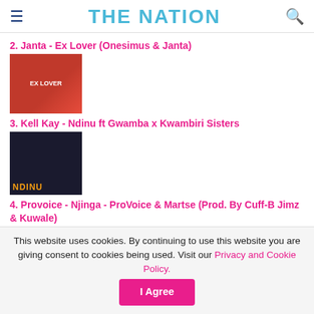THE NATION
2. Janta - Ex Lover (Onesimus & Janta)
[Figure (photo): Album art for Janta - Ex Lover (red background with EX LOVER text)]
3. Kell Kay - Ndinu ft Gwamba x Kwambiri Sisters
[Figure (photo): Album art for Kell Kay - Ndinu (dark background with artists and NDINU text)]
4. Provoice - Njinga - ProVoice & Martse (Prod. By Cuff-B Jimz & Kuwale)
[Figure (photo): Album art for Provoice - Njinga]
5. Martin Anjelz - Sitinati (Martin Anjelz & Vj Ice ft Rina, Hyphen,
This website uses cookies. By continuing to use this website you are giving consent to cookies being used. Visit our Privacy and Cookie Policy.